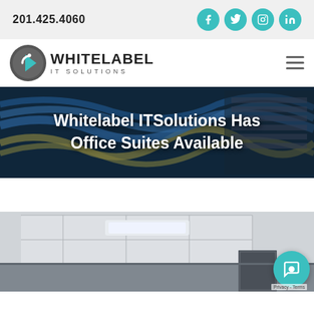201.425.4060
[Figure (logo): Whitelabel IT Solutions logo with circular arrow icon and bold text]
[Figure (photo): Hero banner with network cables and text overlay: Whitelabel ITSolutions Has Office Suites Available]
Whitelabel ITSolutions Has Office Suites Available
[Figure (photo): Office interior showing ceiling tiles and a doorway]